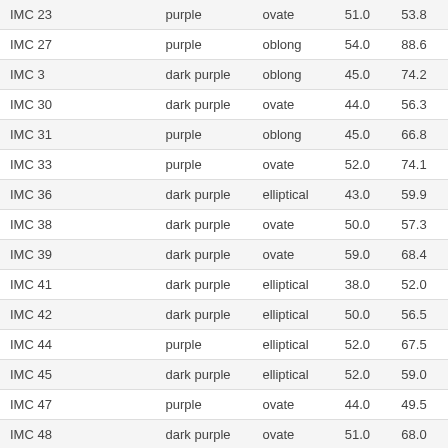| IMC 23 | purple | ovate | 51.0 | 53.8 |
| IMC 27 | purple | oblong | 54.0 | 88.6 |
| IMC 3 | dark purple | oblong | 45.0 | 74.2 |
| IMC 30 | dark purple | ovate | 44.0 | 56.3 |
| IMC 31 | purple | oblong | 45.0 | 66.8 |
| IMC 33 | purple | ovate | 52.0 | 74.1 |
| IMC 36 | dark purple | elliptical | 43.0 | 59.9 |
| IMC 38 | dark purple | ovate | 50.0 | 57.3 |
| IMC 39 | dark purple | ovate | 59.0 | 68.4 |
| IMC 41 | dark purple | elliptical | 38.0 | 52.0 |
| IMC 42 | dark purple | elliptical | 50.0 | 56.5 |
| IMC 44 | purple | elliptical | 52.0 | 67.5 |
| IMC 45 | dark purple | elliptical | 52.0 | 59.0 |
| IMC 47 | purple | ovate | 44.0 | 49.5 |
| IMC 48 | dark purple | ovate | 51.0 | 68.0 |
| IMC 49 | purple | oblong | 35.0 | 52.4 |
| IMC 5 | dark purple | ovate | 45.0 | 49.4 |